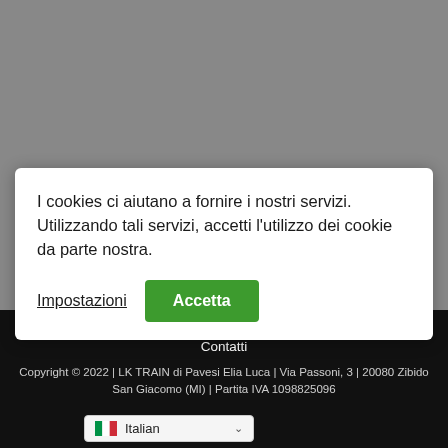[Figure (screenshot): Gray background area representing a partially visible website page]
I cookies ci aiutano a fornire i nostri servizi. Utilizzando tali servizi, accetti l'utilizzo dei cookie da parte nostra.
Impostazioni
Accetta
Home | Prodotti LK in scala H0 | Altri prodotti | Contatti
Copyright © 2022 | LK TRAIN di Pavesi Elia Luca | Via Passoni, 3 | 20080 Zibido San Giacomo (MI) | Partita IVA 1098825096
Italian